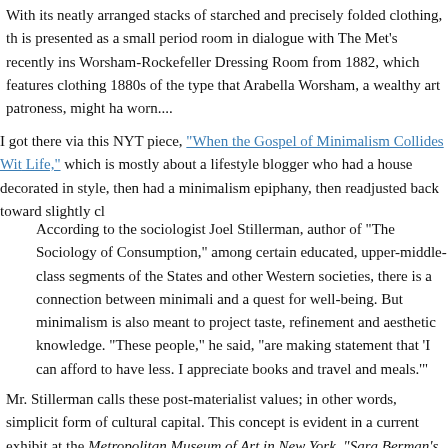With its neatly arranged stacks of starched and precisely folded clothing, the [display is presented as a small period room in dialogue with The Met's recently ins[talled] Worsham-Rockefeller Dressing Room from 1882, which features clothing [from the] 1880s of the type that Arabella Worsham, a wealthy art patroness, might ha[ve] worn....
I got there via this NYT piece, "When the Gospel of Minimalism Collides Wit[h Real] Life," which is mostly about a lifestyle blogger who had a house decorated in [maximalist] style, then had a minimalism epiphany, then readjusted back toward slightly cl[uttered].
According to the sociologist Joel Stillerman, author of "The Sociology of Consumption," among certain educated, upper-middle-class segments of the [United] States and other Western societies, there is a connection between minimali[sm] and a quest for well-being. But minimalism is also meant to project taste, refinement and aesthetic knowledge. "These people," he said, "are making a statement that 'I can afford to have less. I appreciate books and travel and [nice] meals.\'"'
Mr. Stillerman calls these post-materialist values; in other words, simplicit[y as a] form of cultural capital. This concept is evident in a current exhibit at the [New York] Metropolitan Museum of Art in New York, "Sara Berman's Closet".